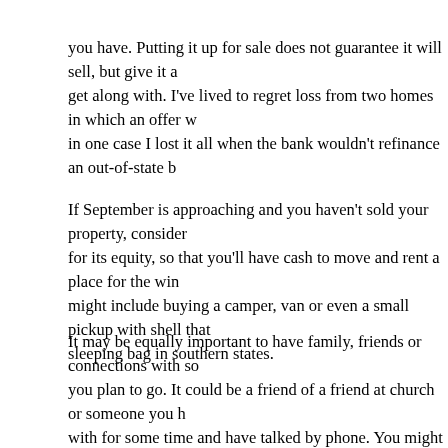you have. Putting it up for sale does not guarantee it will sell, but give it a get along with. I've lived to regret loss from two homes in which an offer w in one case I lost it all when the bank wouldn't refinance an out-of-state b
If September is approaching and you haven't sold your property, consider for its equity, so that you'll have cash to move and rent a place for the win might include buying a camper, van or even a small pickup with shell that sleeping bag in southern states.
It may be equally important to have family, friends or connections with so you plan to go. It could be a friend of a friend at church or someone you h with for some time and have talked by phone. You might consider a week visit to a church in order to ask questions and share what's on your mind
Moving out of the city may mean the loss of job if you aren't self-employe able to commute to work if the economy doesn't crash as expected. If it d your job anyway. So why not go on your terms, selling what you have in t need?
2. Health is wealth and living in the country is more conducive to health a Planting a garden involves a variety of practical exercise in the fresh air a a sweaty gym memberships, and the rewards of gardening also include m attitudes and security v future food shortage. True healthcare is about wh (exercise), and how well we avoid MD's and Rx drugs, a leading cause o